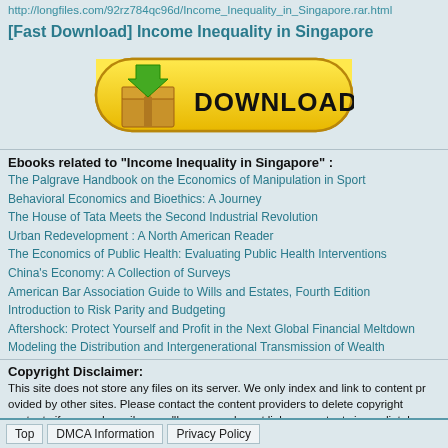http://longfiles.com/92rz784qc96d/Income_Inequality_in_Singapore.rar.html
[Fast Download] Income Inequality in Singapore
[Figure (illustration): Yellow rounded download button with a cardboard box icon and green arrow, labeled DOWNLOAD in bold black text]
Ebooks related to "Income Inequality in Singapore" :
The Palgrave Handbook on the Economics of Manipulation in Sport
Behavioral Economics and Bioethics: A Journey
The House of Tata Meets the Second Industrial Revolution
Urban Redevelopment : A North American Reader
The Economics of Public Health: Evaluating Public Health Interventions
China's Economy: A Collection of Surveys
American Bar Association Guide to Wills and Estates, Fourth Edition
Introduction to Risk Parity and Budgeting
Aftershock: Protect Yourself and Profit in the Next Global Financial Meltdown
Modeling the Distribution and Intergenerational Transmission of Wealth
Copyright Disclaimer:
This site does not store any files on its server. We only index and link to content provided by other sites. Please contact the content providers to delete copyright contents if any and email us, we'll remove relevant links or contents immediately.
Top   DMCA Information   Privacy Policy